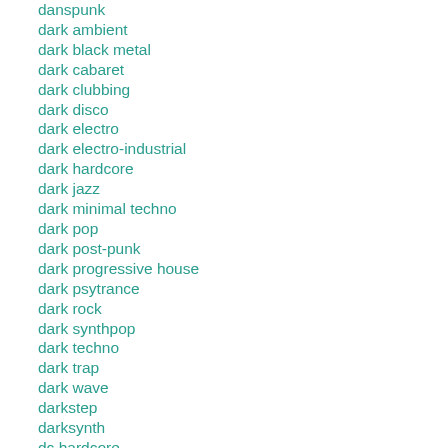danspunk
dark ambient
dark black metal
dark cabaret
dark clubbing
dark disco
dark electro
dark electro-industrial
dark hardcore
dark jazz
dark minimal techno
dark pop
dark post-punk
dark progressive house
dark psytrance
dark rock
dark synthpop
dark techno
dark trap
dark wave
darkstep
darksynth
dc hardcore
dc indie
death doom
death metal